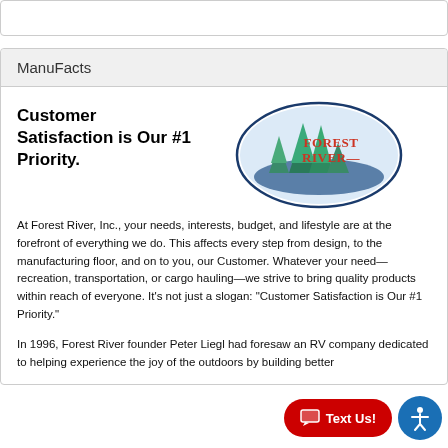ManuFacts
Customer Satisfaction is Our #1 Priority.
[Figure (logo): Forest River oval logo with pine trees and river, text reads 'Forest River']
At Forest River, Inc., your needs, interests, budget, and lifestyle are at the forefront of everything we do. This affects every step from design, to the manufacturing floor, and on to you, our Customer. Whatever your need—recreation, transportation, or cargo hauling—we strive to bring quality products within reach of everyone. It's not just a slogan: “Customer Satisfaction is Our #1 Priority.”
In 1996, Forest River founder Peter Liegl had foresaw an RV company dedicated to helping experience the joy of the outdoors by building better